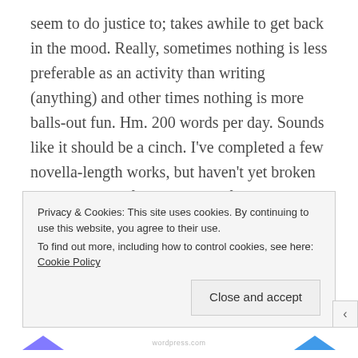seem to do justice to; takes awhile to get back in the mood. Really, sometimes nothing is less preferable as an activity than writing (anything) and other times nothing is more balls-out fun. Hm. 200 words per day. Sounds like it should be a cinch. I've completed a few novella-length works, but haven't yet broken into the ranks of novels. Got a few that could be but by the time they get that far (in the territory of 60k, say) much of it is such a mess... then there's always a better idea about what should happen to so-and-so or between so-and-so and so-and-so. Then there's
Privacy & Cookies: This site uses cookies. By continuing to use this website, you agree to their use.
To find out more, including how to control cookies, see here: Cookie Policy
Close and accept
wordpress.com